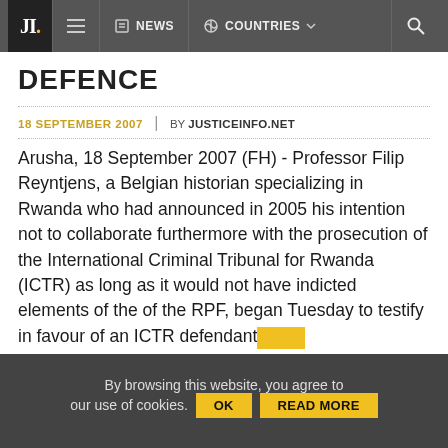JI. NEWS COUNTRIES
DEFENCE
18 SEPTEMBER 2007 | BY JUSTICEINFO.NET
Arusha, 18 September 2007 (FH) - Professor Filip Reyntjens, a Belgian historian specializing in Rwanda who had announced in 2005 his intention not to collaborate furthermore with the prosecution of the International Criminal Tribunal for Rwanda (ICTR) as long as it would not have indicted elements of the of the RPF, began Tuesday to testify in favour of an ICTR defendant
By browsing this website, you agree to our use of cookies. OK READ MORE